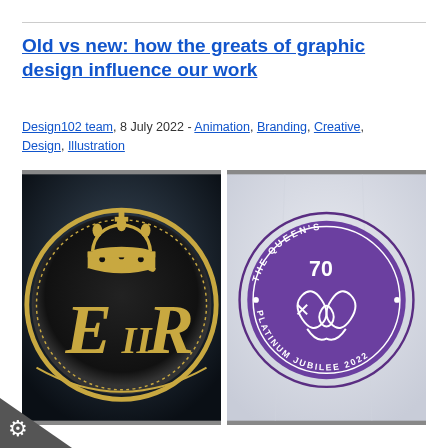Old vs new: how the greats of graphic design influence our work
Design102 team, 8 July 2022 - Animation, Branding, Creative, Design, Illustration
[Figure (photo): Two side-by-side photos: left shows a dark circular metal plaque with gold crown and EIIR royal cypher; right shows a white fabric with The Queen's Platinum Jubilee 2022 circular purple logo on it.]